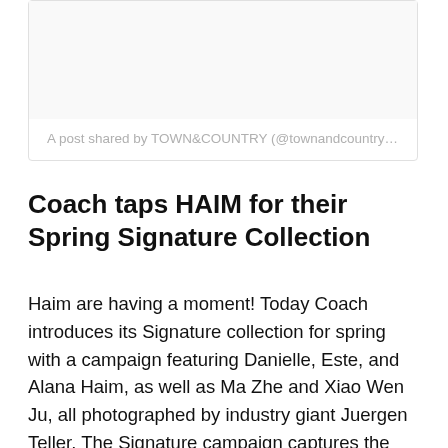A post shared by TOWN&COUNTRY (@townandcountry…
Coach taps HAIM for their Spring Signature Collection
Haim are having a moment! Today Coach introduces its Signature collection for spring with a campaign featuring Danielle, Este, and Alana Haim, as well as Ma Zhe and Xiao Wen Ju, all photographed by industry giant Juergen Teller. The Signature campaign captures the cast in the cultural hubs of New York and Shanghai as part of Coach's new method of showcasing their Coach family in their natural environments. Infusing the house's iconic Signature pattern with their Coach family's personal styles, the collection presents each member's original approach to Coach heritage. Signature is seen on